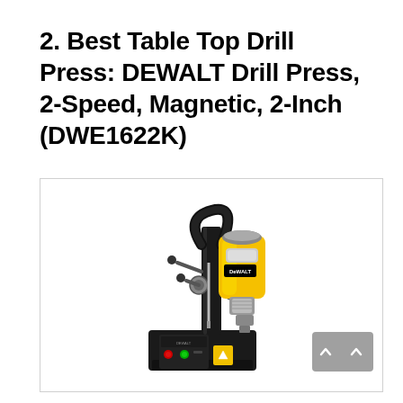2. Best Table Top Drill Press: DEWALT Drill Press, 2-Speed, Magnetic, 2-Inch (DWE1622K)
[Figure (photo): Product photo of DEWALT DWE1622K magnetic drill press, 2-speed, 2-inch, shown at an angle. The drill has a yellow and black color scheme with DEWALT branding, a black magnetic base with control panel showing red and green buttons, and a yellow motor housing with chuck.]